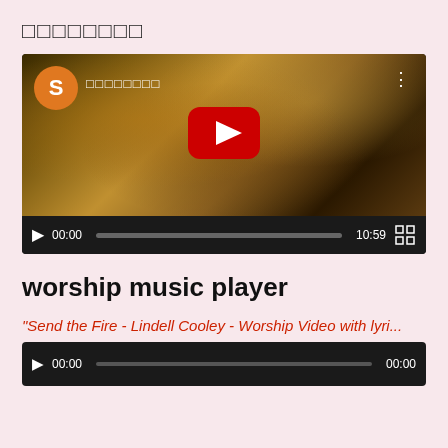□□□□□□□□
[Figure (screenshot): YouTube video player showing a worship music video with orange channel avatar labeled S, channel name in placeholder characters, a red YouTube play button in the center over a dark concert scene background, and video controls showing 00:00 / 10:59 with a progress bar and fullscreen button]
worship music player
“Send the Fire - Lindell Cooley - Worship Video with lyri...
[Figure (screenshot): Mini audio player with play button, time 00:00, progress bar, and duration 00:00]